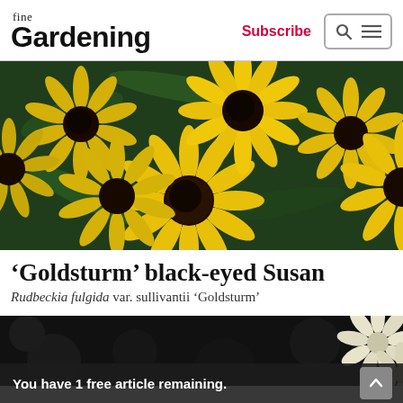fine Gardening — Subscribe
[Figure (photo): Close-up photograph of multiple bright yellow black-eyed Susan (Rudbeckia) flowers with dark brown/black centers against green foliage background.]
‘Goldsturm’ black-eyed Susan
Rudbeckia fulgida var. sullivantii ‘Goldsturm’
[Figure (photo): Partial photograph of flowers against a dark/black background with some light-colored blooms visible at the right edge.]
You have 1 free article remaining.